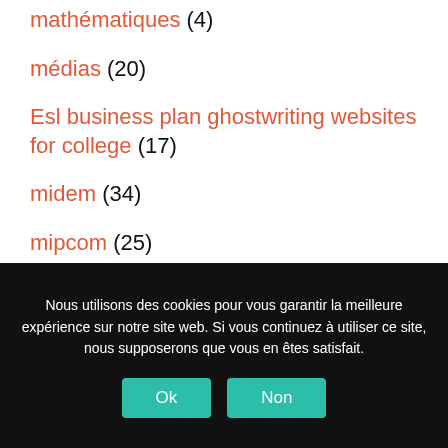mathématiques (4)
médias (20)
Esl business plan ghostwriting websites for college (17)
midem (34)
mipcom (25)
Esl argumentative essay editing website for university (1)
Nous utilisons des cookies pour vous garantir la meilleure expérience sur notre site web. Si vous continuez à utiliser ce site, nous supposerons que vous en êtes satisfait.